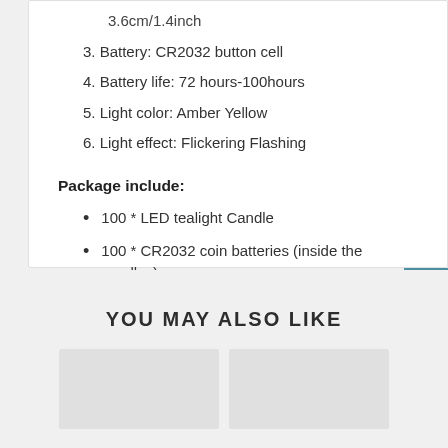3.6cm/1.4inch
3. Battery: CR2032 button cell
4. Battery life: 72 hours-100hours
5. Light color: Amber Yellow
6. Light effect: Flickering Flashing
Package include:
100 * LED tealight Candle
100 * CR2032 coin batteries (inside the candles)
YOU MAY ALSO LIKE